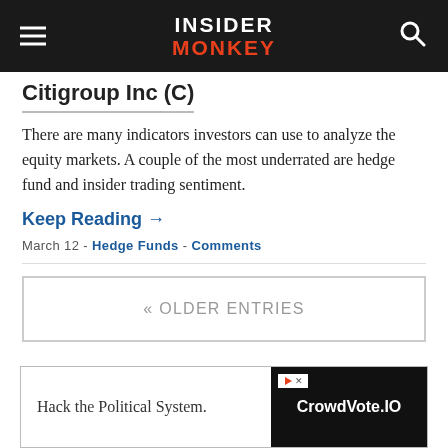INSIDER MONKEY
Citigroup Inc (C)
There are many indicators investors can use to analyze the equity markets. A couple of the most underrated are hedge fund and insider trading sentiment.
Keep Reading →
March 12 - Hedge Funds - Comments
« OLDER ENTRIES
[Figure (other): Advertisement banner: Hack the Political System. CrowdVote.IO]